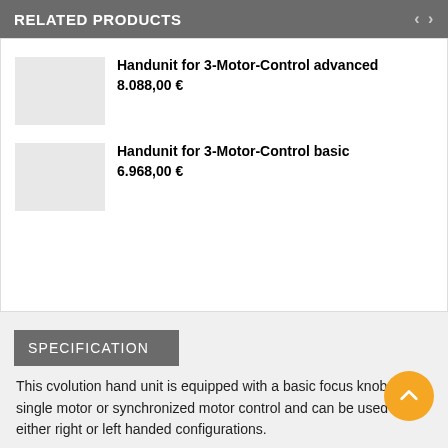RELATED PRODUCTS
Handunit for 3-Motor-Control advanced
8.088,00 €
Handunit for 3-Motor-Control basic
6.968,00 €
SPECIFICATION
This cvolution hand unit is equipped with a basic focus knob for single motor or synchronized motor control and can be used in either right or left handed configurations.